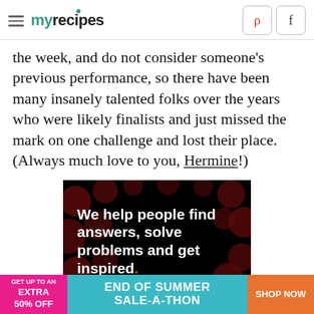myrecipes
the week, and do not consider someone's previous performance, so there have been many insanely talented folks over the years who were likely finalists and just missed the mark on one challenge and lost their place. (Always much love to you, Hermine!)
[Figure (infographic): Dark advertisement with bokeh dots pattern reading: We help people find answers, solve problems and get inspired.]
[Figure (infographic): Banner advertisement: GET UP TO AN EXTRA 50% OFF | END OF SUMMER SALE-A-THON | SHOP NOW]